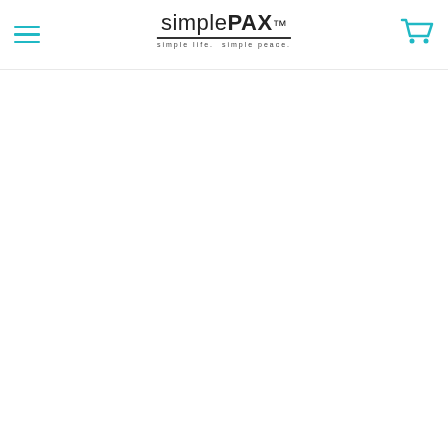[Figure (logo): simplePAX logo with tagline 'simple life. simple peace.' and hamburger menu icon on the left and shopping cart icon on the right]
simplePAX - simple life. simple peace.